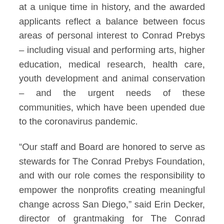at a unique time in history, and the awarded applicants reflect a balance between focus areas of personal interest to Conrad Prebys – including visual and performing arts, higher education, medical research, health care, youth development and animal conservation – and the urgent needs of these communities, which have been upended due to the coronavirus pandemic.
“Our staff and Board are honored to serve as stewards for The Conrad Prebys Foundation, and with our role comes the responsibility to empower the nonprofits creating meaningful change across San Diego,” said Erin Decker, director of grantmaking for The Conrad Prebys Foundation. “The grantees have exhibited